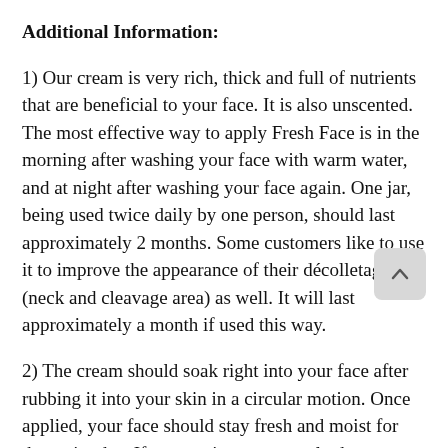Additional Information:
1) Our cream is very rich, thick and full of nutrients that are beneficial to your face. It is also unscented. The most effective way to apply Fresh Face is in the morning after washing your face with warm water, and at night after washing your face again. One jar, being used twice daily by one person, should last approximately 2 months. Some customers like to use it to improve the appearance of their décolletage (neck and cleavage area) as well. It will last approximately a month if used this way.
2) The cream should soak right into your face after rubbing it into your skin in a circular motion. Once applied, your face should stay fresh and moist for the entire day. If you are in an extremely dry